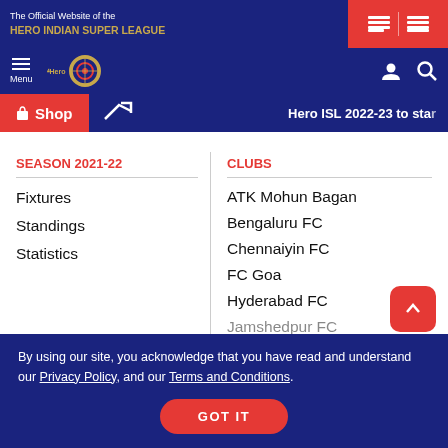The Official Website of the HERO INDIAN SUPER LEAGUE
SEASON 2021-22
CLUBS
Fixtures
Standings
Statistics
ATK Mohun Bagan
Bengaluru FC
Chennaiyin FC
FC Goa
Hyderabad FC
Jamshedpur FC
Hero ISL 2022-23 to star
By using our site, you acknowledge that you have read and understand our Privacy Policy, and our Terms and Conditions.